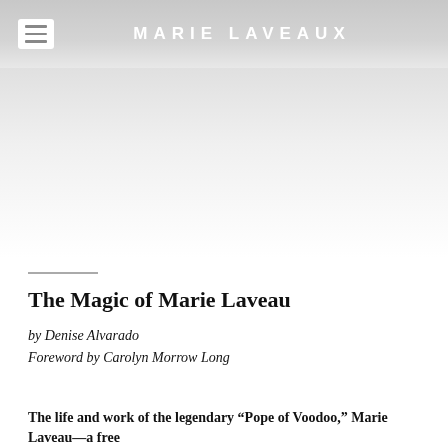MARIE LAVEAUX
The Magic of Marie Laveau
by Denise Alvarado
Foreword by Carolyn Morrow Long
The life and work of the legendary “Pope of Voodoo,” Marie Laveau—a free